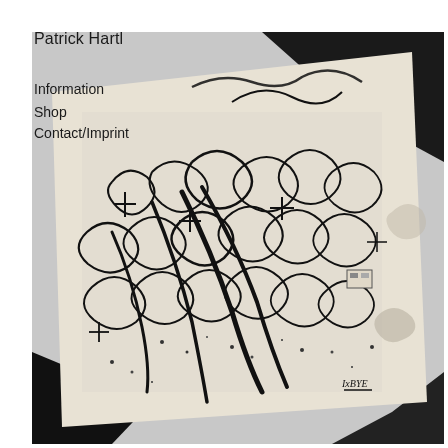Patrick Hartl
Information
Shop
Contact/Imprint
[Figure (photo): Black and white photograph of an abstract artwork — a crumpled or torn white paper/canvas with dense black scribbled gestural marks, loops, and calligraphic strokes overlaid. Dark black areas appear in the upper right and lower left corners. A small signature or marking 'IxBYE' appears in the lower right area of the artwork.]